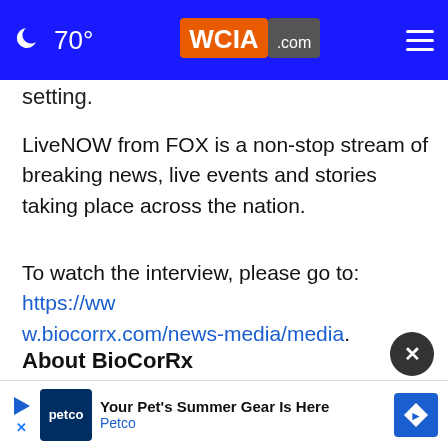70° WCIA.com
setting.
LiveNOW from FOX is a non-stop stream of breaking news, live events and stories taking place across the nation.
To watch the interview, please go to: https://www.biocorrx.com/news-media/media.
About BioCorRx
BioCorRx Inc. (OTCOB: BICX) is an addiction treat ... ique
[Figure (screenshot): Petco advertisement banner: 'Your Pet's Summer Gear Is Here' with Petco logo and navigation arrow icon]